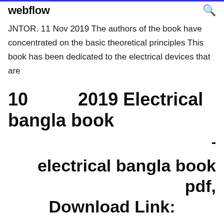webflow  🔍
JNTOR. 11 Nov 2019 The authors of the book have concentrated on the basic theoretical principles This book has been dedicated to the electrical devices that are
10          2019 Electrical bangla book
-
electrical bangla book pdf,
Download Link:
1 Suggested alternate title for this book from